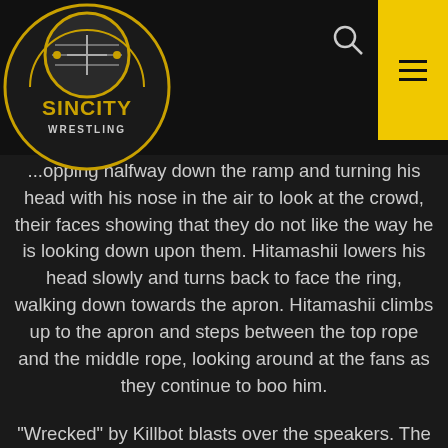[Figure (logo): Sin City Wrestling logo — circular badge with gold/yellow and black colors, wrestling ring graphic, text 'SINCITY WRESTLING']
...stopping halfway down the ramp and turning his head with his nose in the air to look at the crowd, their faces showing that they do not like the way he is looking down upon them. Hitamashii lowers his head slowly and turns back to face the ring, walking down towards the apron. Hitamashii climbs up to the apron and steps between the top rope and the middle rope, looking around at the fans as they continue to boo him.
"Wrecked" by Killbot blasts over the speakers. The fans immediately turn their attention to the entryway.  A few cameramen file through the curtains...